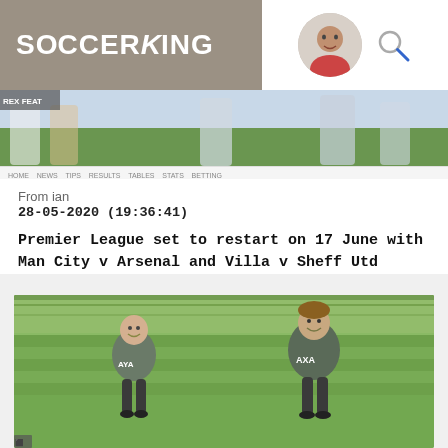SOCCERKING
[Figure (photo): Soccer players running on a pitch - banner strip]
From ian
28-05-2020 (19:36:41)
Premier League set to restart on 17 June with Man City v Arsenal and Villa v Sheff Utd
[Figure (photo): Two Liverpool FC coaches/staff in grey AXA training kit jogging and smiling on a training pitch]